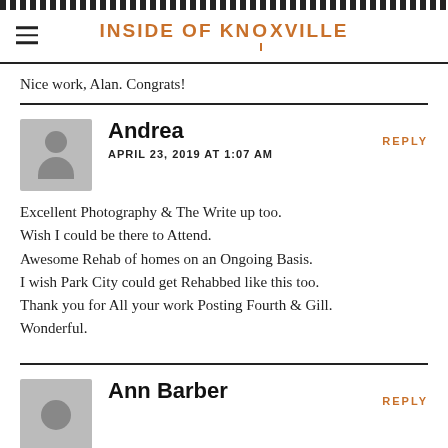INSIDE OF KNOXVILLE
Nice work, Alan. Congrats!
Andrea
APRIL 23, 2019 AT 1:07 AM
REPLY
Excellent Photography & The Write up too.
Wish I could be there to Attend.
Awesome Rehab of homes on an Ongoing Basis.
I wish Park City could get Rehabbed like this too.
Thank you for All your work Posting Fourth & Gill.
Wonderful.
Ann Barber
REPLY